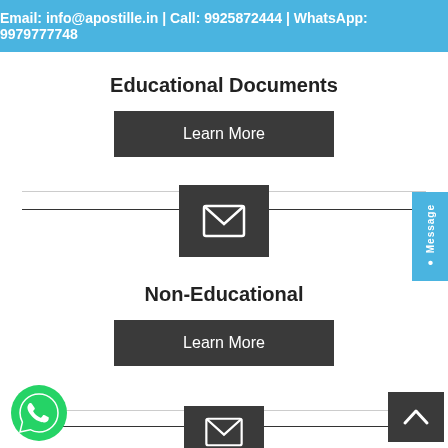Email: info@apostille.in | Call: 9925872444 | WhatsApp: 9979777748
Educational Documents
Learn More
[Figure (illustration): Dark square box with white envelope/mail icon in center]
Non-Educational
Learn More
[Figure (illustration): Green WhatsApp phone icon button at bottom left]
[Figure (illustration): Dark square back-to-top arrow button at bottom right]
[Figure (illustration): Dark square box with white envelope/mail icon partially visible at bottom center]